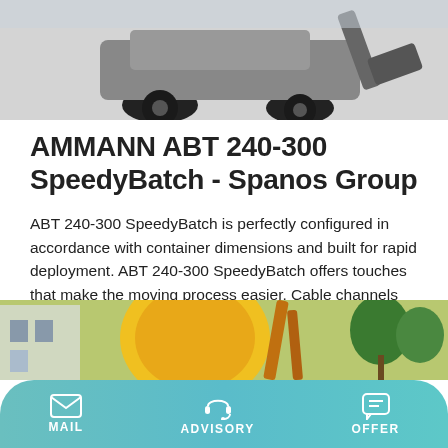[Figure (photo): Top portion of an AMMANN ABT 240-300 SpeedyBatch machine against a light background, showing wheels and mechanical components.]
AMMANN ABT 240-300 SpeedyBatch - Spanos Group
ABT 240-300 SpeedyBatch is perfectly configured in accordance with container dimensions and built for rapid deployment. ABT 240-300 SpeedyBatch offers touches that make the moving process easier. Cable channels are integrated into catwalks that provide protection during transport. Elevators and the associated costs are not necessary because reclaimed and external filler silos are part of the
Learn More
[Figure (photo): Bottom partial photo showing yellow construction/industrial equipment outdoors with building and trees in background.]
MAIL   ADVISORY   OFFER